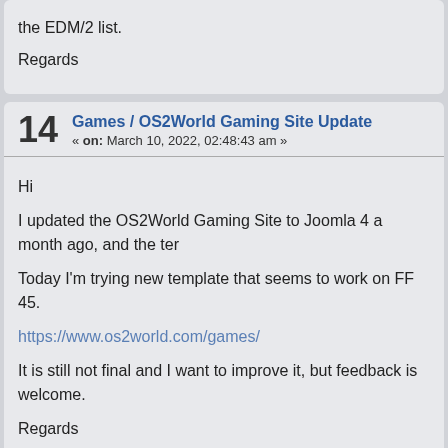the EDM/2 list.

Regards
14  Games / OS2World Gaming Site Update
« on: March 10, 2022, 02:48:43 am »
Hi

I updated the OS2World Gaming Site to Joomla 4 a month ago, and the ter

Today I'm trying new template that seems to work on FF 45.

https://www.os2world.com/games/

It is still not final and I want to improve it, but feedback is welcome.

Regards
15  Internet / RPM: Switching from i686 to Pentium4
« on: February 25, 2022, 08:44:41 pm »
Hi